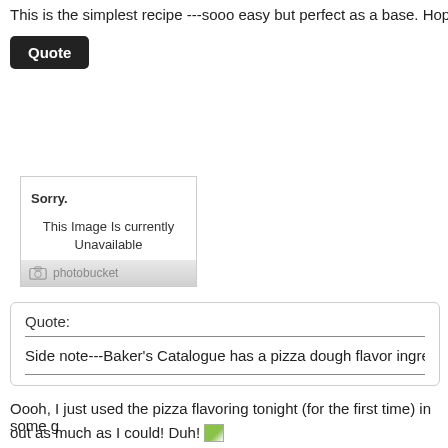This is the simplest recipe ---sooo easy but perfect as a base. Hope yo
Quote
[Figure (screenshot): Photobucket placeholder image showing 'Sorry. This Image Is Currently Unavailable' with Photobucket logo footer]
TwilightKitten
Quote:
Side note---Baker's Catalogue has a pizza dough flavor ingredient tha
Oooh, I just used the pizza flavoring tonight (for the first time) in some g
out as much as I could! Duh!